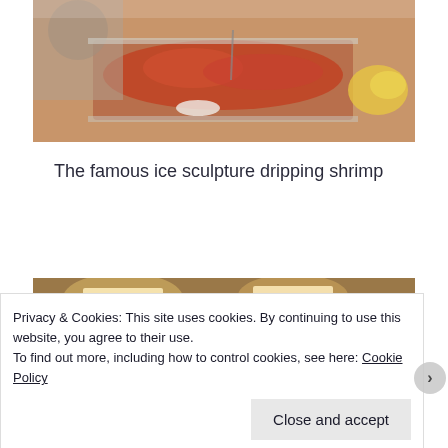[Figure (photo): A seafood buffet display showing shrimp/crab legs in a chafing dish, with a person in white serving. Lemons visible on right side.]
The famous ice sculpture dripping shrimp
[Figure (photo): Interior photo showing warm-lit ceiling with recessed lighting, wood paneling visible.]
Privacy & Cookies: This site uses cookies. By continuing to use this website, you agree to their use.
To find out more, including how to control cookies, see here: Cookie Policy
Close and accept